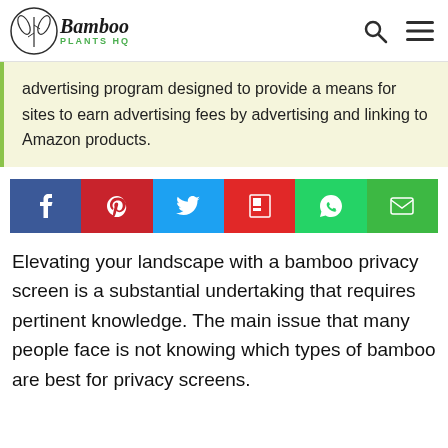Bamboo Plants HQ
advertising program designed to provide a means for sites to earn advertising fees by advertising and linking to Amazon products.
[Figure (other): Social sharing bar with icons for Facebook, Pinterest, Twitter, Flipboard, WhatsApp, and Email]
Elevating your landscape with a bamboo privacy screen is a substantial undertaking that requires pertinent knowledge. The main issue that many people face is not knowing which types of bamboo are best for privacy screens.